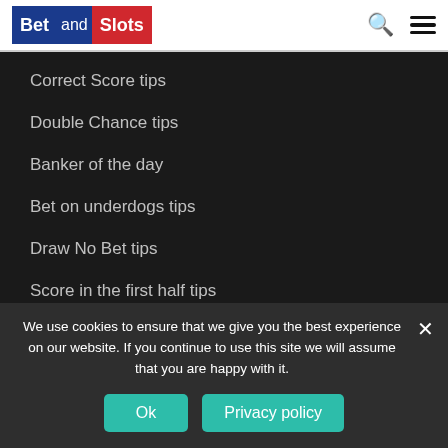Bet and Slots
Correct Score tips
Double Chance tips
Banker of the day
Bet on underdogs tips
Draw No Bet tips
Score in the first half tips
Handicap tips
We use cookies to ensure that we give you the best experience on our website. If you continue to use this site we will assume that you are happy with it.